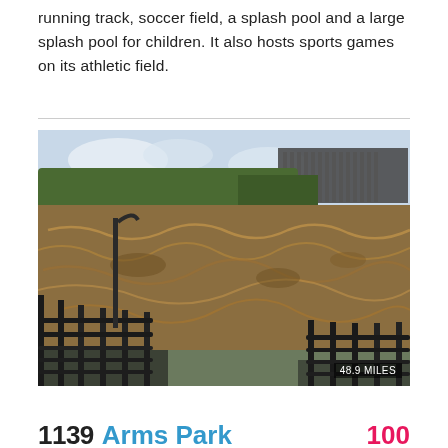running track, soccer field, a splash pool and a large splash pool for children. It also hosts sports games on its athletic field.
[Figure (photo): Photograph of a turbulent, flooded brown river with metal railings in the foreground and trees and a building in the background. Badge reads 48.9 MILES.]
1139 Arms Park  100